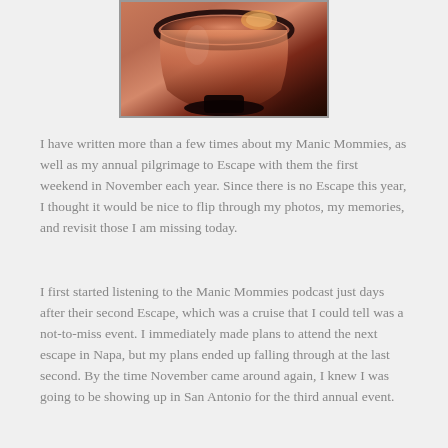[Figure (photo): A photo of a cocktail drink in a dark glass bowl/cup with citrus garnish, viewed from above, on a dark background.]
I have written more than a few times about my Manic Mommies, as well as my annual pilgrimage to Escape with them the first weekend in November each year.  Since there is no Escape this year, I thought it would be nice to flip through my photos, my memories, and revisit those I am missing today.
I first started listening to the Manic Mommies podcast just days after their second Escape, which was a cruise that I could tell was a not-to-miss event.  I immediately made plans to attend the next escape in Napa, but my plans ended up falling through at the last second.  By the time November came around again, I knew I was going to be showing up in San Antonio for the third annual event.